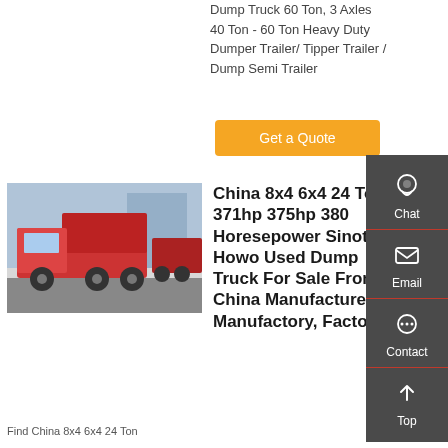Dump Truck 60 Ton, 3 Axles 40 Ton - 60 Ton Heavy Duty Dumper Trailer/ Tipper Trailer / Dump Semi Trailer
Get a Quote
[Figure (photo): Red Sinotruck Howo dump trucks parked outside a building]
China 8x4 6x4 24 Ton 371hp 375hp 380 Horesepower Sinotruck Howo Used Dump Truck For Sale From China Manufacturer, Manufactory, Factory ...
Find China 8x4 6x4 24 Ton
Chat
Email
Contact
Top